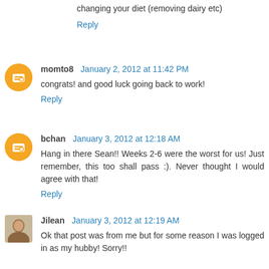changing your diet (removing dairy etc)
Reply
momto8  January 2, 2012 at 11:42 PM
congrats! and good luck going back to work!
Reply
bchan  January 3, 2012 at 12:18 AM
Hang in there Sean!! Weeks 2-6 were the worst for us! Just remember, this too shall pass :). Never thought I would agree with that!
Reply
Jilean  January 3, 2012 at 12:19 AM
Ok that post was from me but for some reason I was logged in as my hubby! Sorry!!